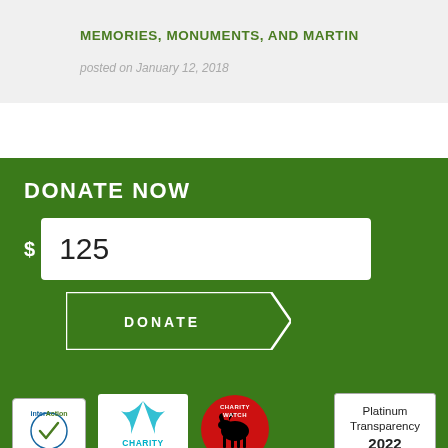MEMORIES, MONUMENTS, AND MARTIN
posted on January 12, 2018
DONATE NOW
$ 125
DONATE
[Figure (logo): InterAction Member Standards logo]
[Figure (logo): Charity Navigator logo]
[Figure (logo): Charity Watch Top-Rated logo]
[Figure (logo): Platinum Transparency 2022 badge]